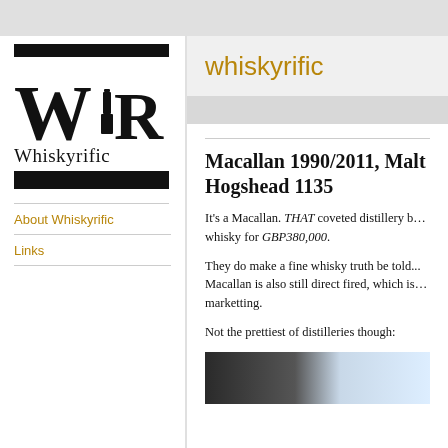[Figure (logo): Whiskyrific logo with WR letters, bottle icon, and text 'Whiskyrific']
About Whiskyrific
Links
whiskyrific
Macallan 1990/2011, Malt Hogshead 1135
It's a Macallan. THAT coveted distillery b… whisky for GBP380,000.
They do make a fine whisky truth be told... Macallan is also still direct fired, which is... marketting.
Not the prettiest of distilleries though:
[Figure (photo): Photo of Macallan distillery building, dark corrugated wall against sky]